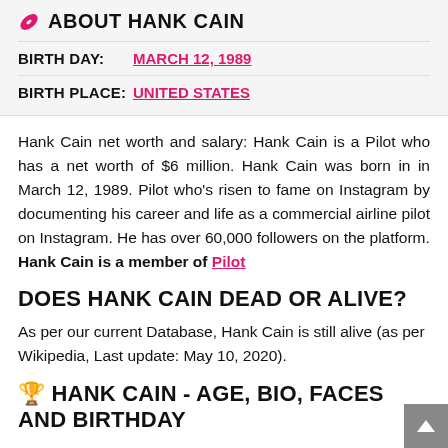ABOUT HANK CAIN
| Field | Value |
| --- | --- |
| BIRTH DAY: | MARCH 12, 1989 |
| BIRTH PLACE: | UNITED STATES |
Hank Cain net worth and salary: Hank Cain is a Pilot who has a net worth of $6 million. Hank Cain was born in in March 12, 1989. Pilot who's risen to fame on Instagram by documenting his career and life as a commercial airline pilot on Instagram. He has over 60,000 followers on the platform.
Hank Cain is a member of Pilot
DOES HANK CAIN DEAD OR ALIVE?
As per our current Database, Hank Cain is still alive (as per Wikipedia, Last update: May 10, 2020).
🏆 HANK CAIN - AGE, BIO, FACES AND BIRTHDAY